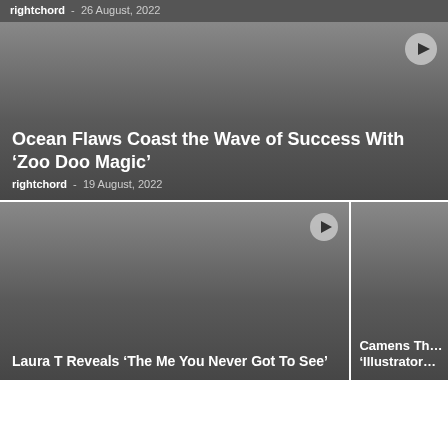rightchord  -  26 August, 2022
[Figure (screenshot): Large card with gradient background and play button. Title: Ocean Flaws Coast the Wave of Success With 'Zoo Doo Magic'. Byline: rightchord - 19 August, 2022]
Ocean Flaws Coast the Wave of Success With ‘Zoo Doo Magic’
rightchord  -  19 August, 2022
[Figure (screenshot): Smaller card on the left with gradient background and play button. Title: Laura T Reveals ‘The Me You Never Got To See’]
Laura T Reveals ‘The Me You Never Got To See’
[Figure (screenshot): Smaller card on the right with gradient background, partially cropped. Title starts: Camens Th... 'Illustrator...]
Camens Th… ‘Illustrator…